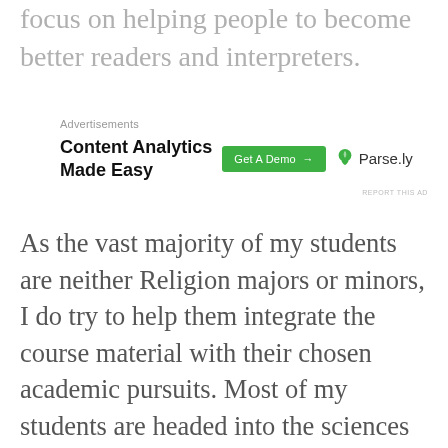focus on helping people to become better readers and interpreters.
[Figure (other): Advertisement banner for Parse.ly: 'Content Analytics Made Easy' with a green 'Get A Demo →' button and the Parse.ly logo (green leaf icon)]
As the vast majority of my students are neither Religion majors or minors, I do try to help them integrate the course material with their chosen academic pursuits. Most of my students are headed into the sciences in one way or another. So, in my Christian Heritage class, I devote a week to “Christianity and Science”. I attempt to